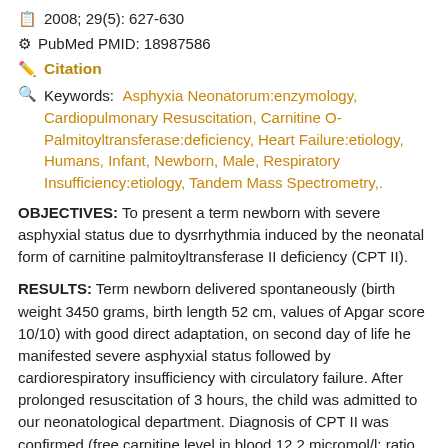2008; 29(5): 627-630
PubMed PMID: 18987586
Citation
Keywords: Asphyxia Neonatorum:enzymology, Cardiopulmonary Resuscitation, Carnitine O-Palmitoyltransferase:deficiency, Heart Failure:etiology, Humans, Infant, Newborn, Male, Respiratory Insufficiency:etiology, Tandem Mass Spectrometry,.
OBJECTIVES: To present a term newborn with severe asphyxial status due to dysrrhythmia induced by the neonatal form of carnitine palmitoyltransferase II deficiency (CPT II).
RESULTS: Term newborn delivered spontaneously (birth weight 3450 grams, birth length 52 cm, values of Apgar score 10/10) with good direct adaptation, on second day of life he manifested severe asphyxial status followed by cardiorespiratory insufficiency with circulatory failure. After prolonged resuscitation of 3 hours, the child was admitted to our neonatological department. Diagnosis of CPT II was confirmed (free carnitine level in blood 12.2 micromol/l; ratio